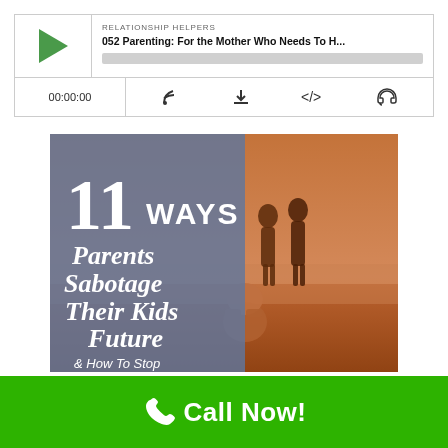[Figure (screenshot): Podcast player widget showing RELATIONSHIP HELPERS label, episode title '052 Parenting: For the Mother Who Needs To H...', play button, progress bar, time 00:00:00, and control icons (RSS, download, embed, share)]
[Figure (photo): Image showing text overlay '11 WAYS Parents Sabotage Their Kids Future & How To Stop' over a beach scene with silhouetted parents walking and a child playing in the foreground at sunset]
Call Now!